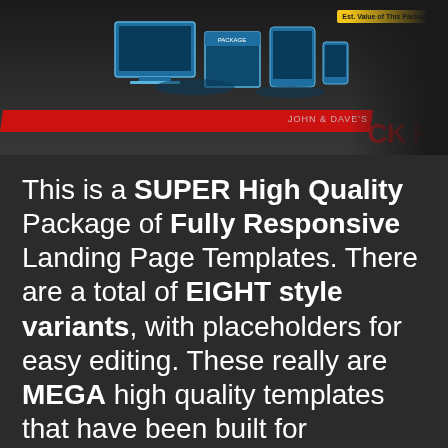[Figure (photo): Product package image showing digital products/templates on screens with red stripe banner, 'Est. Value of This Package' badge, 'JOHN & DAVE'S' text, and partial 'BLACK FRIDAY' text on dark background]
This is a SUPER High Quality Package of Fully Responsive Landing Page Templates. There are a total of EIGHT style variants, with placeholders for easy editing. These really are MEGA high quality templates that have been built for TODAY'S technology to be fully mobile responsive and very high converting.